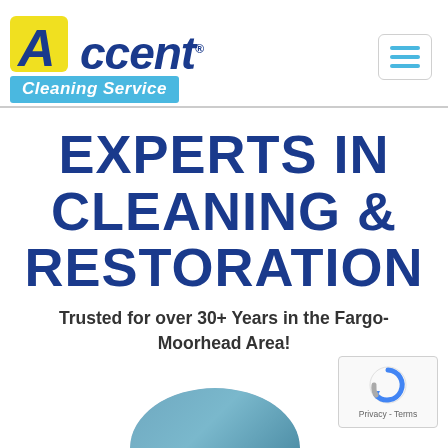[Figure (logo): Accent Cleaning Service logo: yellow square with stylized blue A, blue italic 'Accent' text with registered trademark symbol, light blue banner with white italic 'Cleaning Service' text]
[Figure (other): Hamburger menu icon with three horizontal blue lines inside a rounded rectangle border]
EXPERTS IN CLEANING & RESTORATION
Trusted for over 30+ Years in the Fargo-Moorhead Area!
[Figure (photo): Bottom portion of a circular photo showing a person in work uniform, partially visible at bottom of page]
[Figure (other): Google reCAPTCHA badge showing reCAPTCHA logo and 'Privacy - Terms' text]